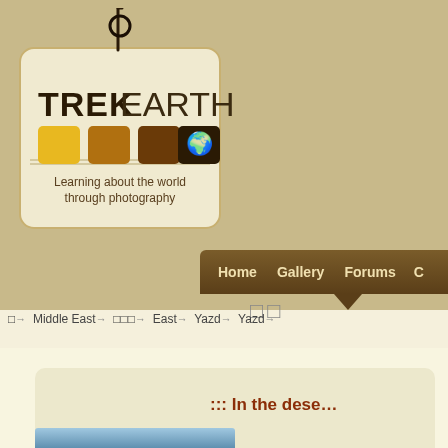[Figure (logo): TrekEarth logo: a luggage tag shape with string/ring at top, brown text 'TREKEARTH', four colored squares (yellow, medium brown, dark brown, dark brown with world map icon), tagline 'Learning about the world through photography']
Home   Gallery   Forums   C…
□□
□→  Middle East→  □□□→  East→  Yazd→  Yazd→
::: In the dese…